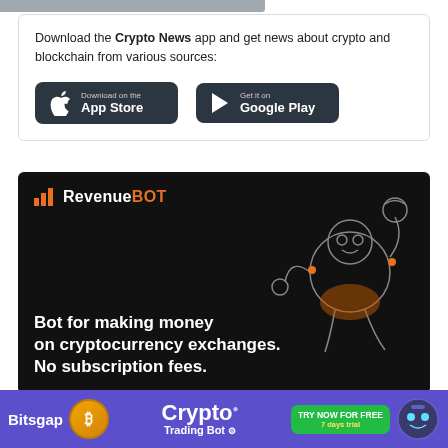[Figure (illustration): Grey horizontal bar at top of page]
Download the Crypto News app and get news about crypto and blockchain from various sources:
[Figure (illustration): App store download buttons: 'Download on the App Store' and 'Get it on Google Play' with dark rounded rectangle backgrounds]
[Figure (illustration): RevenueBOT advertisement banner with dark background, robot illustration, orange bar chart logo, and text: 'Bot for making money on cryptocurrency exchanges. No subscription fees.']
[Figure (illustration): Bitsgap banner at bottom: purple background with Bitsgap text, Bitcoin coin icon, 'Crypto Trading Bot' text, 'TRY NOW FOR FREE 7 days trial' green button, and robot face icon]